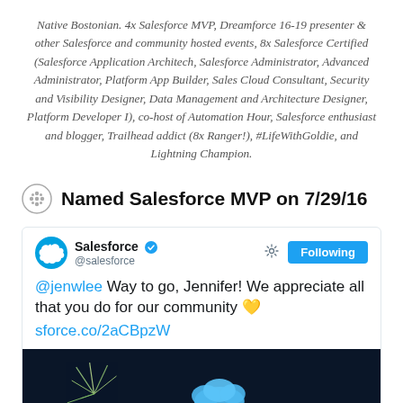Native Bostonian. 4x Salesforce MVP, Dreamforce 16-19 presenter & other Salesforce and community hosted events, 8x Salesforce Certified (Salesforce Application Architech, Salesforce Administrator, Advanced Administrator, Platform App Builder, Sales Cloud Consultant, Security and Visibility Designer, Data Management and Architecture Designer, Platform Developer I), co-host of Automation Hour, Salesforce enthusiast and blogger, Trailhead addict (8x Ranger!), #LifeWithGoldie, and Lightning Champion.
Named Salesforce MVP on 7/29/16
[Figure (screenshot): A Twitter/social media card from Salesforce (@salesforce) with a 'Following' button, tweeting: '@jenwlee Way to go, Jennifer! We appreciate all that you do for our community [heart emoji] sforce.co/2aCBpzW' with a partial image of a dark blue background with fireworks visible at the bottom.]